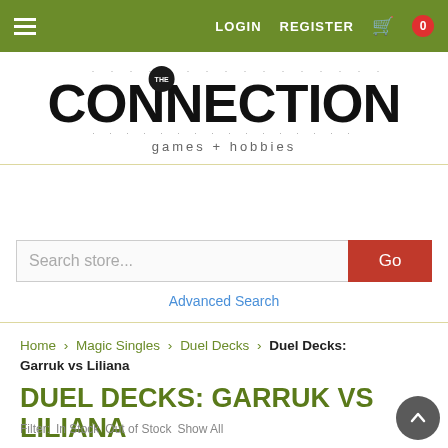LOGIN  REGISTER  [cart] 0
[Figure (logo): The Connection games + hobbies logo with dotted border motif]
Search store...
Advanced Search
Home > Magic Singles > Duel Decks > Duel Decks: Garruk vs Liliana
DUEL DECKS: GARRUK VS LILIANA
Filter:   In Stock   Out of Stock   Show All